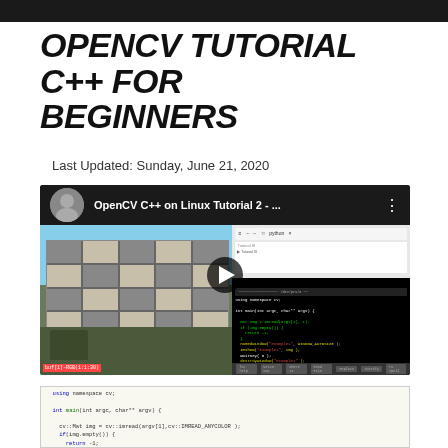OpenCV Tutorial C++ for Beginners
Last Updated: Sunday, June 21, 2020
[Figure (screenshot): YouTube video thumbnail showing OpenCV C++ on Linux Tutorial 2 video with channel avatar, building photograph on left half and C++ code editor on right half, with a play button overlay]
[Figure (screenshot): Bottom portion showing C++ code in an editor with OpenCV function calls including namedWindow, imshow, waitKey, and destroyAllWindows]